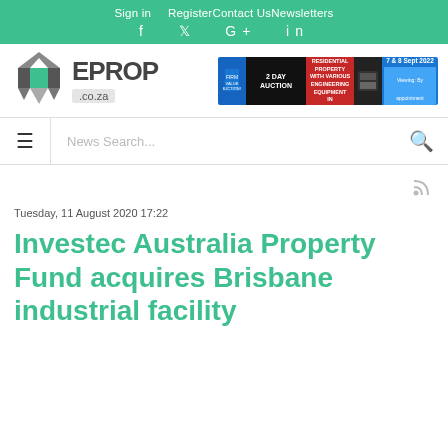Sign in   RegisterContact UsNewsletters
f  t  G+  in
[Figure (logo): EPROP .co.za logo with geometric diamond icon]
[Figure (screenshot): 2 DAY AUCTION advertisement banner - COMMERCIAL & RESIDENTIAL PROPERTY WITH VARIOUS ENGINEERING EQUIPMENT IN BLOEMFONTEIN, 7 & 8 Sept 2022]
≡   News Search...   🔍
Tuesday, 11 August 2020 17:22
Investec Australia Property Fund acquires Brisbane industrial facility